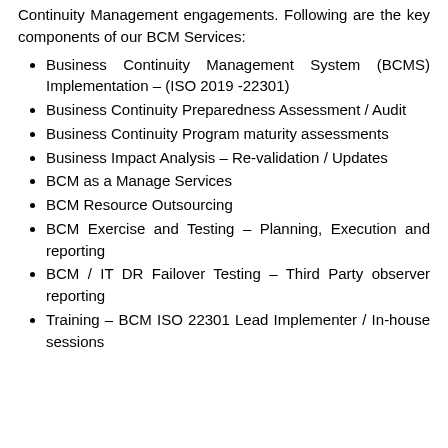Continuity Management engagements. Following are the key components of our BCM Services:
Business Continuity Management System (BCMS) Implementation – (ISO 2019 -22301)
Business Continuity Preparedness Assessment / Audit
Business Continuity Program maturity assessments
Business Impact Analysis – Re-validation / Updates
BCM as a Manage Services
BCM Resource Outsourcing
BCM Exercise and Testing – Planning, Execution and reporting
BCM / IT DR Failover Testing – Third Party observer reporting
Training – BCM ISO 22301 Lead Implementer / In-house sessions